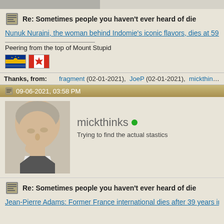[Figure (photo): Partial top image cut off at top of page]
Re: Sometimes people you haven't ever heard of die
Nunuk Nuraini, the woman behind Indomie's iconic flavors, dies at 59 | Coc
Peering from the top of Mount Stupid
[Figure (illustration): British Columbia flag and Canadian flag icons]
Thanks, from: fragment (02-01-2021), JoeP (02-01-2021), mickthinks (02-01-2021), s
09-06-2021, 03:58 PM
[Figure (photo): Avatar photo of an older man with grey hair looking downward with hand raised to chin]
mickthinks
Trying to find the actual stastics
Re: Sometimes people you haven't ever heard of die
Jean-Pierre Adams: Former France international dies after 39 years in com